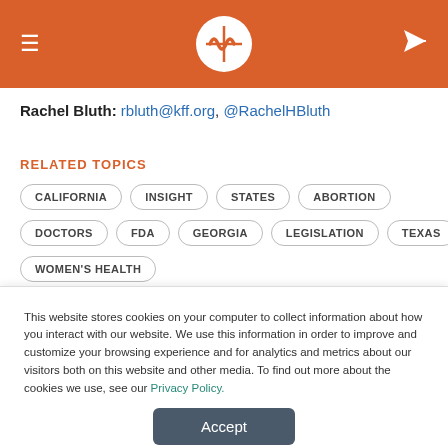[Figure (logo): KFF Health News logo in white on orange header bar with hamburger menu icon on left and send/share icon on right]
Rachel Bluth: rbluth@kff.org, @RachelHBluth
RELATED TOPICS
CALIFORNIA
INSIGHT
STATES
ABORTION
DOCTORS
FDA
GEORGIA
LEGISLATION
TEXAS
WOMEN'S HEALTH
This website stores cookies on your computer to collect information about how you interact with our website. We use this information in order to improve and customize your browsing experience and for analytics and metrics about our visitors both on this website and other media. To find out more about the cookies we use, see our Privacy Policy.